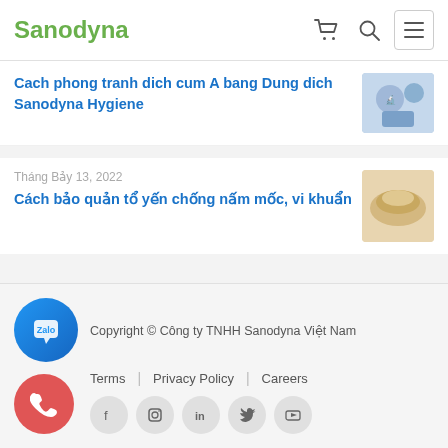Sanodyna
Cach phong tranh dich cum A bang Dung dich Sanodyna Hygiene
Tháng Bảy 13, 2022
Cách bảo quản tổ yến chống nấm mốc, vi khuẩn
Copyright © Công ty TNHH Sanodyna Việt Nam
Terms | Privacy Policy | Careers